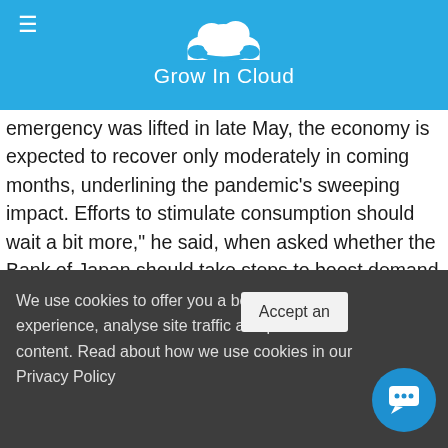Grow In Cloud
emergency was lifted in late May, the economy is expected to recover only moderately in coming months, underlining the pandemic's sweeping impact. Efforts to stimulate consumption should wait a bit more," he said, when asked whether the Bank of Japan should take steps to boost demand, such as deepening negative interest rates.

Japan: Economy contracts for second consecutive quarter in Q1 2020 May 18, 2020 The economy contracted 3.4% in the first quarter of 2020 compared to the previous quarter in seasonally-adjusted annualized terms, which was less than both the 4.6% decrease market analysts had expected and the 7.3% contraction in Q4 last year. All Rights Reserved. She is a brand
We use cookies to offer you a better browsing experience, analyse site traffic and personalize content. Read about how we use cookies in our Privacy Policy